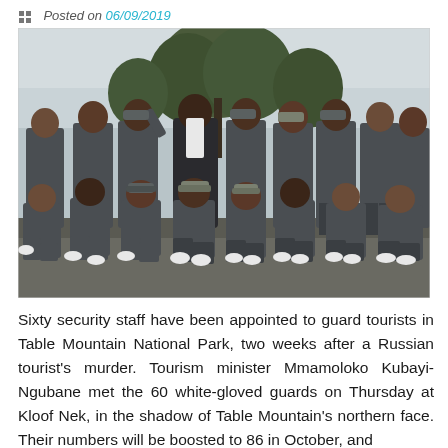Posted on 06/09/2019
[Figure (photo): Group photo of approximately 20 security guards in gray uniforms with white gloves, posing outdoors with one civilian (woman in dark jacket) in the center, with trees and overcast sky in the background.]
Sixty security staff have been appointed to guard tourists in Table Mountain National Park, two weeks after a Russian tourist's murder. Tourism minister Mmamoloko Kubayi-Ngubane met the 60 white-gloved guards on Thursday at Kloof Nek, in the shadow of Table Mountain's northern face. Their numbers will be boosted to 86 in October, and